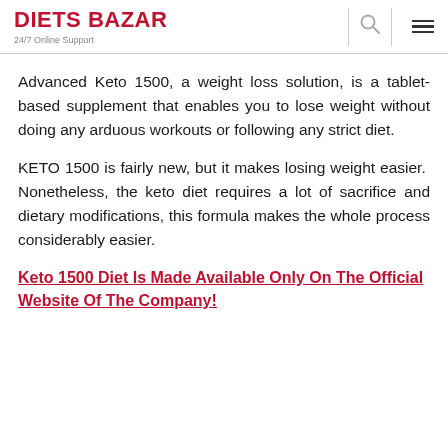DIETS BAZAR
24/7 Online Support
Advanced Keto 1500, a weight loss solution, is a tablet-based supplement that enables you to lose weight without doing any arduous workouts or following any strict diet.
KETO 1500 is fairly new, but it makes losing weight easier.  Nonetheless, the keto diet requires a lot of sacrifice and dietary modifications, this formula makes the whole process considerably easier.
Keto 1500 Diet Is Made Available Only On The Official Website Of The Company!